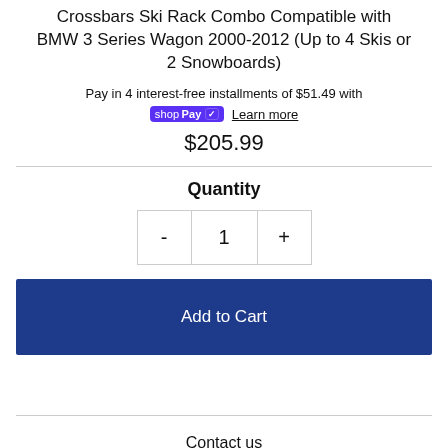Crossbars Ski Rack Combo Compatible with BMW 3 Series Wagon 2000-2012 (Up to 4 Skis or 2 Snowboards)
Pay in 4 interest-free installments of $51.49 with
shop Pay  Learn more
$205.99
Quantity
- 1 +
Add to Cart
Contact us